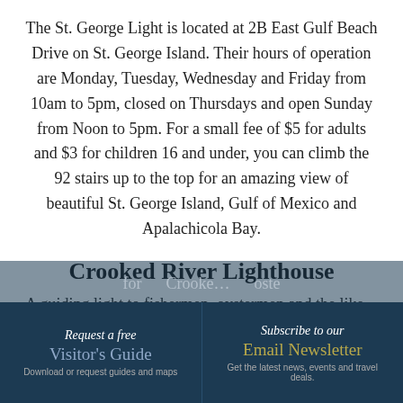The St. George Light is located at 2B East Gulf Beach Drive on St. George Island. Their hours of operation are Monday, Tuesday, Wednesday and Friday from 10am to 5pm, closed on Thursdays and open Sunday from Noon to 5pm. For a small fee of $5 for adults and $3 for children 16 and under, you can climb the 92 stairs up to the top for an amazing view of beautiful St. George Island, Gulf of Mexico and Apalachicola Bay.
Crooked River Lighthouse
A guiding light to fishermen, oystermen and the like
Request a free Visitor's Guide Download or request guides and maps | Subscribe to our Email Newsletter Get the latest news, events and travel deals.